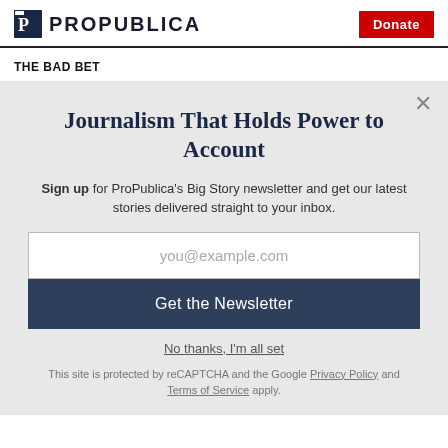ProPublica | Donate
THE BAD BET
Journalism That Holds Power to Account
Sign up for ProPublica's Big Story newsletter and get our latest stories delivered straight to your inbox.
you@example.com
Get the Newsletter
No thanks, I'm all set
This site is protected by reCAPTCHA and the Google Privacy Policy and Terms of Service apply.